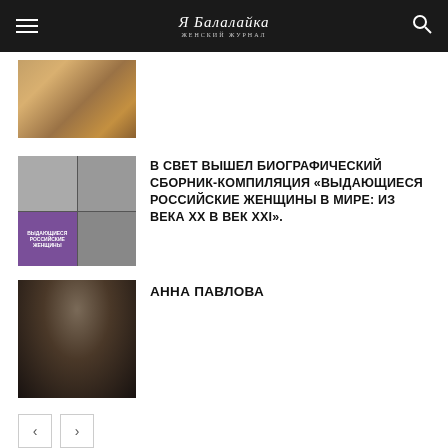Я Балалайка [logo/nav bar]
[Figure (photo): Thumbnail image of a person with warm brown tones, partially visible at top]
В СВЕТ ВЫШЕЛ БИОГРАФИЧЕСКИЙ СБОРНИК-КОМПИЛЯЦИЯ «ВЫДАЮЩИЕСЯ РОССИЙСКИЕ ЖЕНЩИНЫ В МИРЕ: ИЗ ВЕКА XX В ВЕК XXI».
[Figure (photo): Book cover collage with historical black-and-white portraits and purple background panel]
АННА ПАВЛОВА
[Figure (photo): Portrait of Anna Pavlova wearing an ornate crown/headdress, dark background]
ОСТАВЬТЕ ОТВЕТ